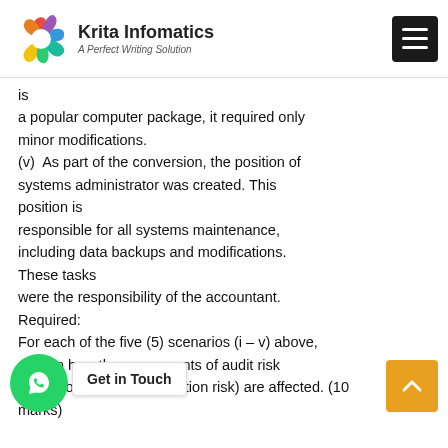Krita Infomatics — A Perfect Writing Solution
is a popular computer package, it required only minor modifications.
(v) As part of the conversion, the position of systems administrator was created. This position is responsible for all systems maintenance, including data backups and modifications. These tasks were the responsibility of the accountant.
Required:
For each of the five (5) scenarios (i – v) above, explain how the components of audit risk (inherent risk, control risk or detection risk) are affected. (10 marks)